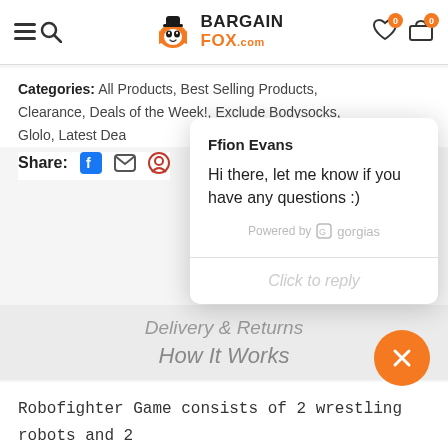BargainFox.com — navigation header with search, wishlist (0), cart (0)
Categories: All Products, Best Selling Products, Clearance, Deals of the Week!, Exclude Bodysocks, Glolo, Latest Deals...
Share: f [email] [pinterest]
[Figure (screenshot): Chat popup from Gorgias showing agent Ffion Evans with message: Hi there, let me know if you have any questions :) Powered by gorgias. Click to reply.]
Delivery & Returns
How It Works
Robofighter Game consists of 2 wrestling robots and 2 motion sensor controllers that allow you to enjoy the